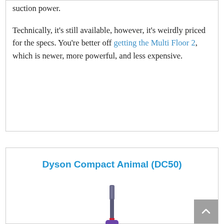suction power.
Technically, it's still available, however, it's weirdly priced for the specs. You're better off getting the Multi Floor 2, which is newer, more powerful, and less expensive.
Dyson Compact Animal (DC50)
[Figure (photo): Image of a Dyson Compact Animal DC50 upright vacuum cleaner in purple and silver, shown from the front against a white background]